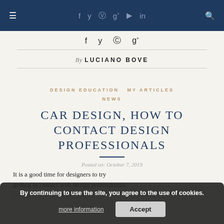≡  f  y  ⊕  g+  ▶  in  🔍
f  y  ⊕  g+
By LUCIANO BOVE
DESIGN EDUCATION  MY ARTICLES  NEWS
CAR DESIGN, HOW TO CONTACT DESIGN PROFESSIONALS
Posted on: October 7, 2019
It is a good time for designers to try getting in contact with design professionals. The main objective is to follow...
By continuing to use the site, you agree to the use of cookies. more information  Accept